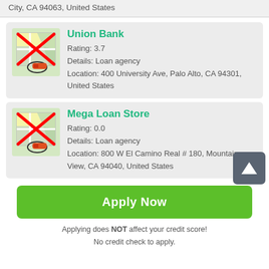City, CA 94063, United States
Union Bank
Rating: 3.7
Details: Loan agency
Location: 400 University Ave, Palo Alto, CA 94301, United States
Mega Loan Store
Rating: 0.0
Details: Loan agency
Location: 800 W El Camino Real # 180, Mountain View, CA 94040, United States
Apply Now
Applying does NOT affect your credit score!
No credit check to apply.